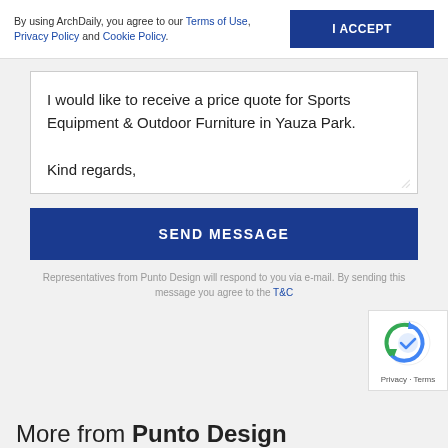By using ArchDaily, you agree to our Terms of Use, Privacy Policy and Cookie Policy.
I ACCEPT
I would like to receive a price quote for Sports Equipment & Outdoor Furniture in Yauza Park.

Kind regards,
SEND MESSAGE
Representatives from Punto Design will respond to you via e-mail. By sending this message you agree to the T&C
[Figure (logo): reCAPTCHA badge with Google logo and Privacy - Terms text]
More from Punto Design